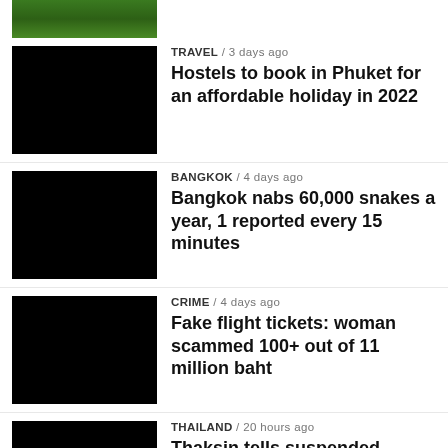[Figure (photo): Partial top image showing nature/green scene, cropped]
[Figure (photo): Black thumbnail image for Phuket hostels article]
TRAVEL / 3 days ago
Hostels to book in Phuket for an affordable holiday in 2022
[Figure (photo): Black thumbnail image for Bangkok snakes article]
BANGKOK / 4 days ago
Bangkok nabs 60,000 snakes a year, 1 reported every 15 minutes
[Figure (photo): Black thumbnail image for fake flight tickets article]
CRIME / 4 days ago
Fake flight tickets: woman scammed 100+ out of 11 million baht
[Figure (photo): Black thumbnail image for Thaksin article]
THAILAND / 20 hours ago
Thaksin tells suspended Thailand PM Prayut ‘to go with dignity’
[Figure (photo): Orangutan face photo thumbnail]
THAILAND / 7 days ago
Horny primate grabs tourist’s boobs at a Bangkok...